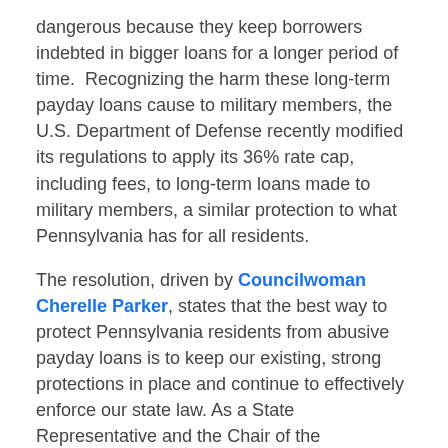dangerous because they keep borrowers indebted in bigger loans for a longer period of time. Recognizing the harm these long-term payday loans cause to military members, the U.S. Department of Defense recently modified its regulations to apply its 36% rate cap, including fees, to long-term loans made to military members, a similar protection to what Pennsylvania has for all residents.
The resolution, driven by Councilwoman Cherelle Parker, states that the best way to protect Pennsylvania residents from abusive payday loans is to keep our existing, strong protections in place and continue to effectively enforce our state law. As a State Representative and the Chair of the Philadelphia Delegation, Councilwoman Parker was a leader in the 2012 fight to keep payday lenders out of Pennsylvania.
“We have had enough of the payday loan industry’s antics to try and deceive Pennsylvanians, pretending as though what they want to offer in the Commonwealth is a safe option for